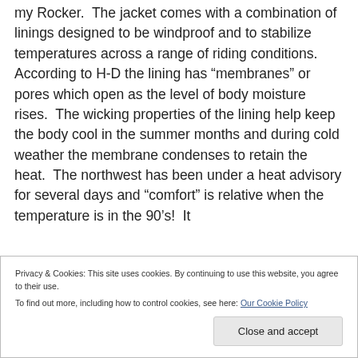my Rocker.  The jacket comes with a combination of linings designed to be windproof and to stabilize temperatures across a range of riding conditions.  According to H-D the lining has “membranes” or pores which open as the level of body moisture rises.  The wicking properties of the lining help keep the body cool in the summer months and during cold weather the membrane condenses to retain the heat.  The northwest has been under a heat advisory for several days and “comfort” is relative when the temperature is in the 90’s!  It
Privacy & Cookies: This site uses cookies. By continuing to use this website, you agree to their use.
To find out more, including how to control cookies, see here: Our Cookie Policy
Close and accept